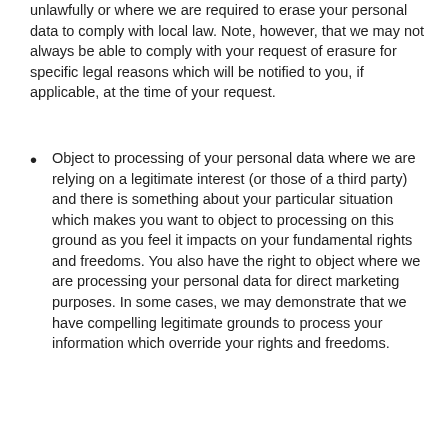unlawfully or where we are required to erase your personal data to comply with local law. Note, however, that we may not always be able to comply with your request of erasure for specific legal reasons which will be notified to you, if applicable, at the time of your request.
Object to processing of your personal data where we are relying on a legitimate interest (or those of a third party) and there is something about your particular situation which makes you want to object to processing on this ground as you feel it impacts on your fundamental rights and freedoms. You also have the right to object where we are processing your personal data for direct marketing purposes. In some cases, we may demonstrate that we have compelling legitimate grounds to process your information which override your rights and freedoms.